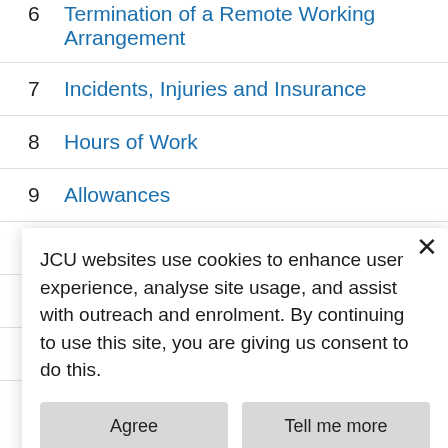6  Termination of a Remote Working Arrangement
7  Incidents, Injuries and Insurance
8  Hours of Work
9  Allowances
10  Equipment
11  Ad-hoc Arrangements
12  Compliance
1  Introduction
JCU recognises the benefits of, Remote Working Arrangements (RWA) in the attraction and retention of staff. JCU acknowledges the need to balance flexible working with the creation of a vibrant campus experience and positive workplace culture
JCU websites use cookies to enhance user experience, analyse site usage, and assist with outreach and enrolment. By continuing to use this site, you are giving us consent to do this.